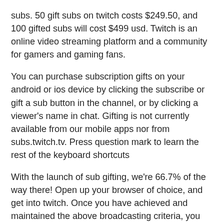subs. 50 gift subs on twitch costs $249.50, and 100 gifted subs will cost $499 usd. Twitch is an online video streaming platform and a community for gamers and gaming fans.
You can purchase subscription gifts on your android or ios device by clicking the subscribe or gift a sub button in the channel, or by clicking a viewer's name in chat. Gifting is not currently available from our mobile apps nor from subs.twitch.tv. Press question mark to learn the rest of the keyboard shortcuts
With the launch of sub gifting, we're 66.7% of the way there! Open up your browser of choice, and get into twitch. Once you have achieved and maintained the above broadcasting criteria, you will get an invitation via email from twitch admin.